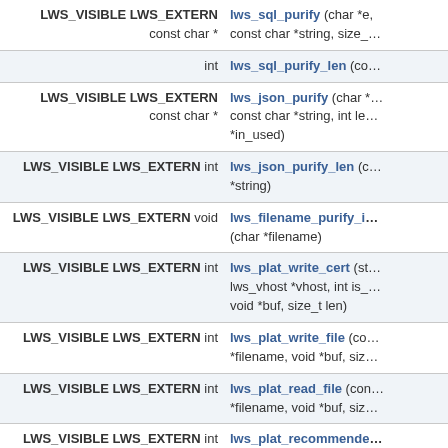| Return / Qualifiers | Function Signature |
| --- | --- |
| LWS_VISIBLE LWS_EXTERN const char * | lws_sql_purify (char *e, const char *string, size_… |
| int | lws_sql_purify_len (co… |
| LWS_VISIBLE LWS_EXTERN const char * | lws_json_purify (char *… const char *string, int le… *in_used) |
| LWS_VISIBLE LWS_EXTERN int | lws_json_purify_len (c… *string) |
| LWS_VISIBLE LWS_EXTERN void | lws_filename_purify_i… (char *filename) |
| LWS_VISIBLE LWS_EXTERN int | lws_plat_write_cert (st… lws_vhost *vhost, int is_… void *buf, size_t len) |
| LWS_VISIBLE LWS_EXTERN int | lws_plat_write_file (co… *filename, void *buf, siz… |
| LWS_VISIBLE LWS_EXTERN int | lws_plat_read_file (con… *filename, void *buf, siz… |
| LWS_VISIBLE LWS_EXTERN int | lws_plat_recommende… (void) |